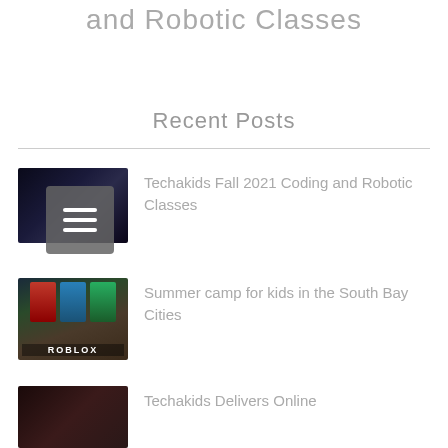and Robotic Classes
Recent Posts
Techakids Fall 2021 Coding and Robotic Classes
Summer camp for kids in the South Bay Cities
Techakids Delivers Online